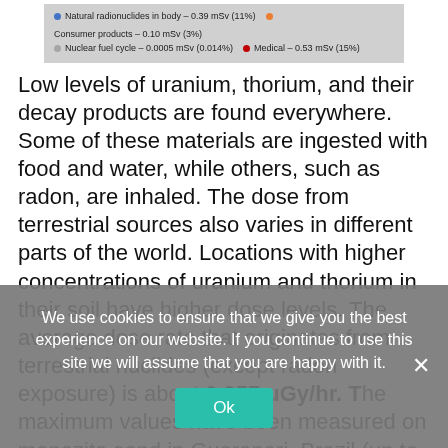[Figure (other): Legend bar showing radiation source categories: Natural radionuclides in body – 0.39 mSv (11%), Consumer products – 0.10 mSv (3%), Nuclear fuel cycle – 0.0005 mSv (0.014%), Medical – 0.53 mSv (15%)]
Low levels of uranium, thorium, and their decay products are found everywhere. Some of these materials are ingested with food and water, while others, such as radon, are inhaled. The dose from terrestrial sources also varies in different parts of the world. Locations with higher concentrations of uranium and thorium in their soil have higher dose levels. The average dose rate that originates from terrestrial nuclides (except radon exposure) is about 0.057 μGy/hr. The maximum values have been measured on monazite sand in Guarapari, Brazil (up to 50
We use cookies to ensure that we give you the best experience on our website. If you continue to use this site we will assume that you are happy with it.